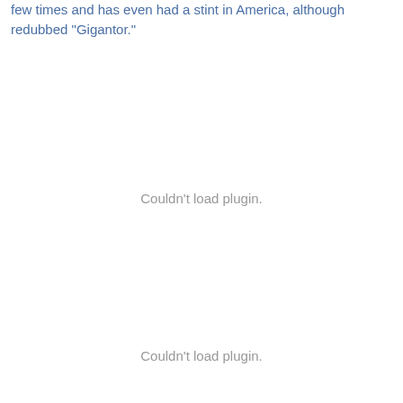few times and has even had a stint in America, although redubbed "Gigantor."
[Figure (other): Couldn't load plugin.]
[Figure (other): Couldn't load plugin.]